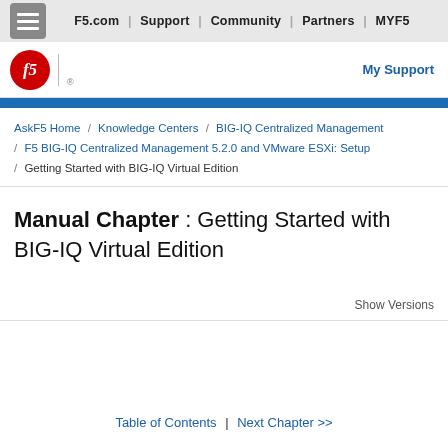F5.com | Support | Community | Partners | MYF5
[Figure (logo): F5 logo — red circle with italic 'f5' text, followed by vertical divider and 'My Support' link]
AskF5 Home / Knowledge Centers / BIG-IQ Centralized Management / F5 BIG-IQ Centralized Management 5.2.0 and VMware ESXi: Setup / Getting Started with BIG-IQ Virtual Edition
Manual Chapter : Getting Started with BIG-IQ Virtual Edition
Show Versions
Table of Contents | Next Chapter >>